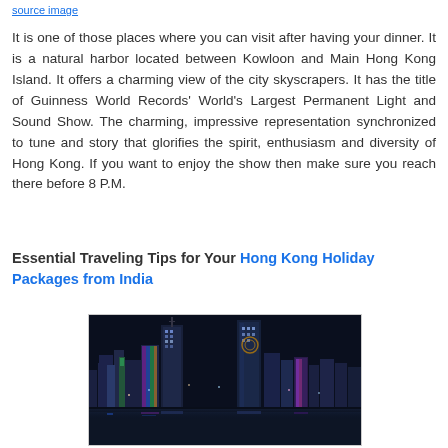source image
It is one of those places where you can visit after having your dinner. It is a natural harbor located between Kowloon and Main Hong Kong Island. It offers a charming view of the city skyscrapers. It has the title of Guinness World Records' World's Largest Permanent Light and Sound Show. The charming, impressive representation synchronized to tune and story that glorifies the spirit, enthusiasm and diversity of Hong Kong. If you want to enjoy the show then make sure you reach there before 8 P.M.
Essential Traveling Tips for Your Hong Kong Holiday Packages from India
[Figure (photo): Night skyline of Hong Kong showing illuminated skyscrapers reflected in Victoria Harbour]